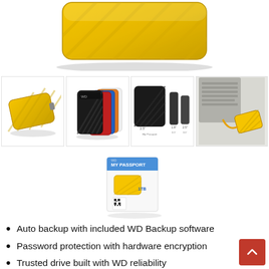[Figure (photo): Close-up top view of yellow WD My Passport portable hard drive with diagonal ribbed texture pattern]
[Figure (photo): Four thumbnail product images: yellow WD My Passport drive alone; stack of colorful WD My Passport drives (black, red, blue, orange, white); size comparison diagram of drive with dimensions; lifestyle photo of yellow drive next to laptop on white surface]
[Figure (photo): WD My Passport product retail box showing yellow drive, white packaging with branding]
Auto backup with included WD Backup software
Password protection with hardware encryption
Trusted drive built with WD reliability